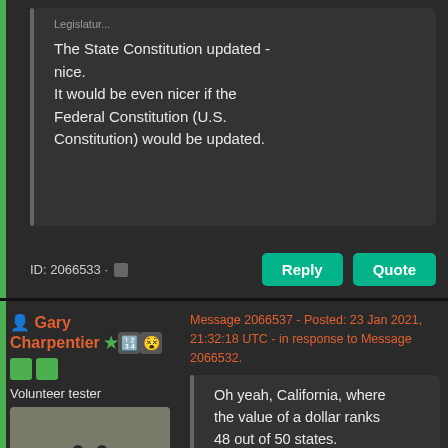Legislatur...
The State Constitution updated - nice.
It would be even nicer if the Federal Constitution (U.S. Constitution) would be updated.
ID: 2066533 · ■
Reply
Quote
Gary Charpentier
Volunteer tester
Message 2066537 - Posted: 23 Jan 2021, 21:32:18 UTC - in response to Message 2066532.
Oh yeah, California, where the value of a dollar ranks 48 out of 50 states.
What is the Real Value of $100 in Your State?
Send message